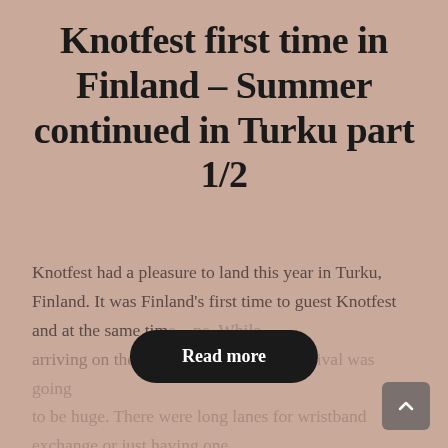Knotfest first time in Finland – Summer continued in Turku part 1/2
Knotfest had a pleasure to land this year in Turku, Finland. It was Finland's first time to guest Knotfest and at the same time… pe. While arriving on the zone it was clear that festival was going to be huge. There were long lanes for wristband exchange or just having one…